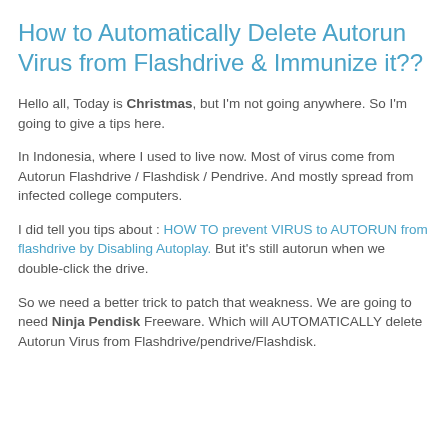How to Automatically Delete Autorun Virus from Flashdrive & Immunize it??
Hello all, Today is Christmas, but I'm not going anywhere. So I'm going to give a tips here.
In Indonesia, where I used to live now. Most of virus come from Autorun Flashdrive / Flashdisk / Pendrive. And mostly spread from infected college computers.
I did tell you tips about : HOW TO prevent VIRUS to AUTORUN from flashdrive by Disabling Autoplay. But it's still autorun when we double-click the drive.
So we need a better trick to patch that weakness. We are going to need Ninja Pendisk Freeware. Which will AUTOMATICALLY delete Autorun Virus from Flashdrive/pendrive/Flashdisk.